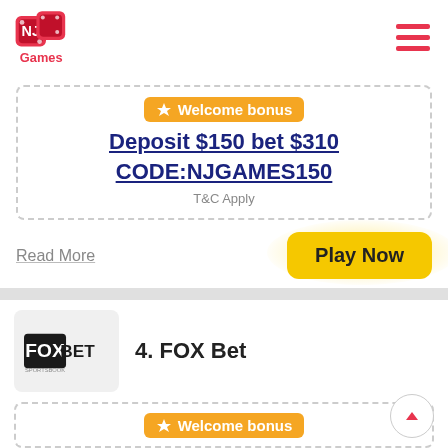[Figure (logo): NJ Games logo with red dice]
[Figure (infographic): Hamburger menu icon with three red lines]
Welcome bonus
Deposit $150 bet $310 CODE:NJGAMES150
T&C Apply
Read More
Play Now
[Figure (logo): FOX Bet logo]
4. FOX Bet
Welcome bonus